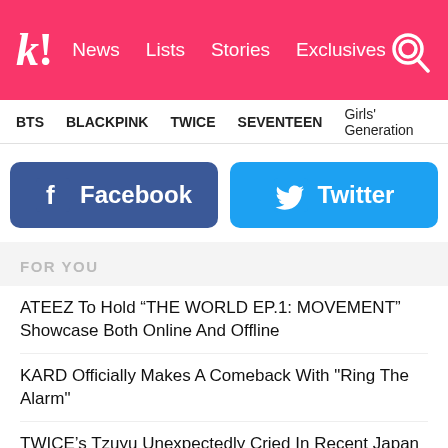kl News Lists Stories Exclusives [search icon]
BTS
BLACKPINK
TWICE
SEVENTEEN
Girls' Generation
[Figure (other): Facebook social share button with Facebook logo icon]
[Figure (other): Twitter social share button with Twitter bird logo icon]
FOR YOU
ATEEZ To Hold “THE WORLD EP.1: MOVEMENT” Showcase Both Online And Offline
KARD Officially Makes A Comeback With "Ring The Alarm"
TWICE’s Tzuyu Unexpectedly Cried In Recent Japan Concert, And Her Members Followed Suit
BLACKPINK Lights Up Seoul, New York, And Los Angeles